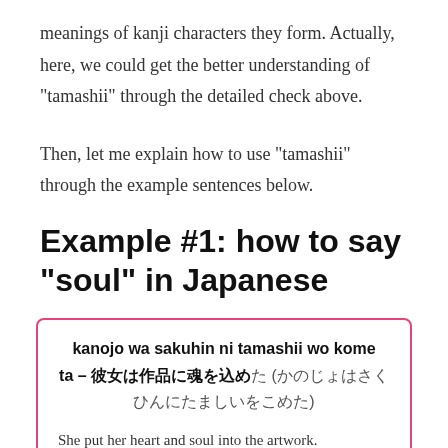meanings of kanji characters they form. Actually, here, we could get the better understanding of “tamashii” through the detailed check above.
Then, let me explain how to use “tamashii” through the example sentences below.
Example #1: how to say “soul” in Japanese
kanojo wa sakuhin ni tamashii wo kome ta – 彼女は作品に魂を込めた (かのじょはさくひんにたましいをこめた)
She put her heart and soul into the artwork.